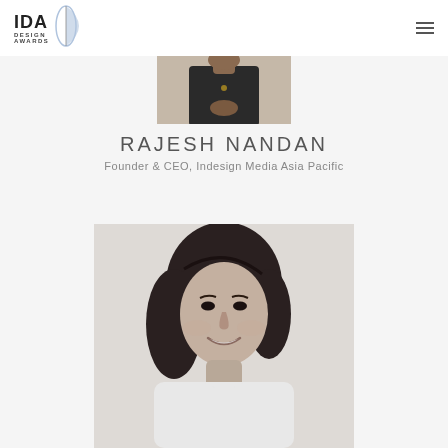IDA DESIGN AWARDS
[Figure (photo): Partial photo of Rajesh Nandan (upper body, dark clothing, hands clasped), cropped at top]
RAJESH NANDAN
Founder & CEO, Indesign Media Asia Pacific
[Figure (photo): Black and white portrait photo of a smiling woman with dark hair, partially cropped at bottom]